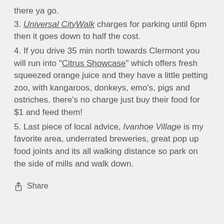there ya go.
3. Universal CityWalk charges for parking until 6pm then it goes down to half the cost.
4. If you drive 35 min north towards Clermont you will run into "Citrus Showcase" which offers fresh squeezed orange juice and they have a little petting zoo, with kangaroos, donkeys, emo's, pigs and ostriches. there's no charge just buy their food for $1 and feed them!
5. Last piece of local advice, Ivanhoe Village is my favorite area, underrated breweries, great pop up food joints and its all walking distance so park on the side of mills and walk down.
Share